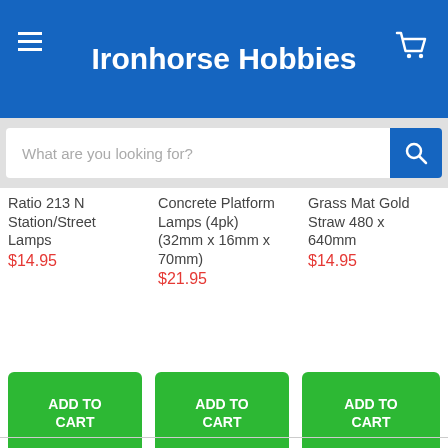Ironhorse Hobbies
What are you looking for?
Ratio 213 N Station/Street Lamps
$14.95
Concrete Platform Lamps (4pk) (32mm x 16mm x 70mm)
$21.95
Grass Mat Gold Straw 480 x 640mm
$14.95
ADD TO CART
ADD TO CART
ADD TO CART